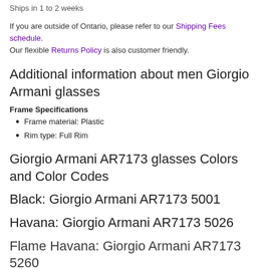Ships in 1 to 2 weeks
If you are outside of Ontario, please refer to our Shipping Fees schedule. Our flexible Returns Policy is also customer friendly.
Additional information about men Giorgio Armani glasses
Frame Specifications
Frame material: Plastic
Rim type: Full Rim
Giorgio Armani AR7173 glasses Colors and Color Codes
Black: Giorgio Armani AR7173 5001
Havana: Giorgio Armani AR7173 5026
Flame Havana: Giorgio Armani AR7173 5260